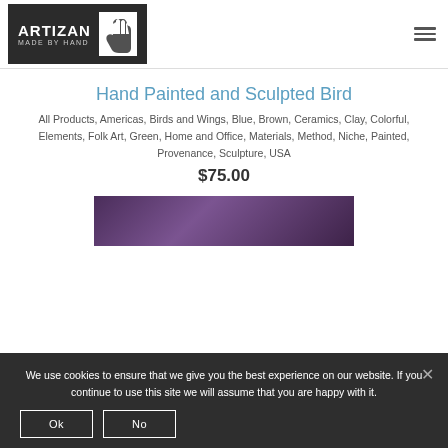[Figure (logo): Artizan Made By Hand logo — dark background with hand print icon and white text]
Hand Painted and Sculpted Bird
All Products, Americas, Birds and Wings, Blue, Brown, Ceramics, Clay, Colorful, Elements, Folk Art, Green, Home and Office, Materials, Method, Niche, Painted, Provenance, Sculpture, USA
$75.00
[Figure (photo): Partial view of a hand painted and sculpted bird — dark purple/black tones, cropped at bottom]
We use cookies to ensure that we give you the best experience on our website. If you continue to use this site we will assume that you are happy with it.